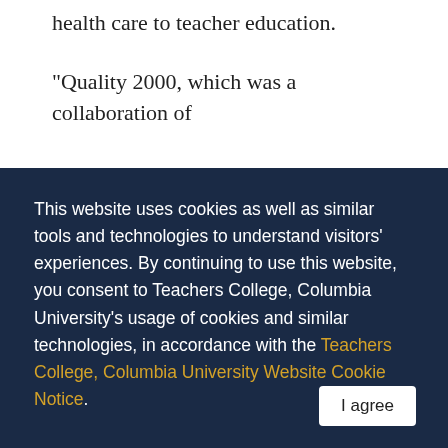health care to teacher education.
“Quality 2000, which was a collaboration of
This website uses cookies as well as similar tools and technologies to understand visitors’ experiences. By continuing to use this website, you consent to Teachers College, Columbia University’s usage of cookies and similar technologies, in accordance with the Teachers College, Columbia University Website Cookie Notice.